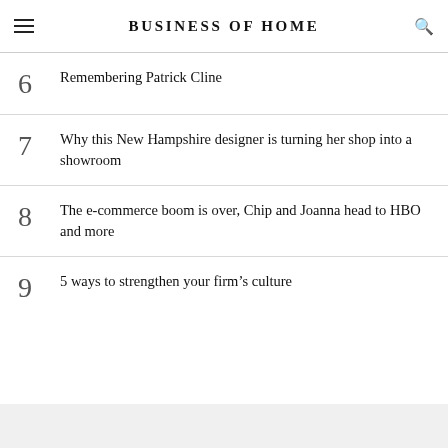BUSINESS OF HOME
6 Remembering Patrick Cline
7 Why this New Hampshire designer is turning her shop into a showroom
8 The e-commerce boom is over, Chip and Joanna head to HBO and more
9 5 ways to strengthen your firm’s culture